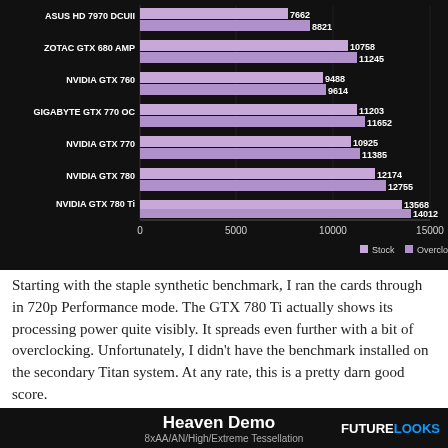[Figure (grouped-bar-chart): ]
Starting with the staple synthetic benchmark, I ran the cards through in 720p Performance mode. The GTX 780 Ti actually shows its processing power quite visibly. It spreads even further with a bit of overclocking. Unfortunately, I didn't have the benchmark installed on the secondary Titan system. At any rate, this is a pretty darn good score.
[Figure (bar-chart): 8xAA/AN/High/Extreme Tessellation benchmark chart header visible, chart content partially cut off at bottom]